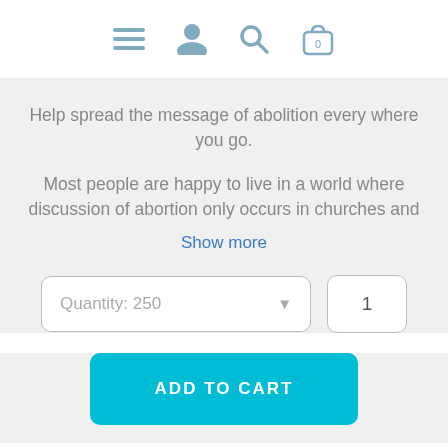[Figure (screenshot): Navigation bar with hamburger menu, user icon, search icon, and shopping cart with 0 items]
Help spread the message of abolition every where you go.
Most people are happy to live in a world where discussion of abortion only occurs in churches and
Show more
Quantity: 250
1
ADD TO CART